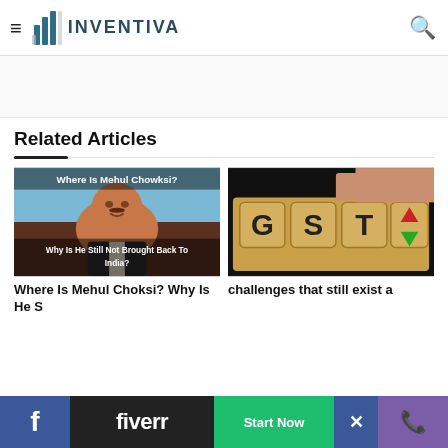INVENTIVA
Related Articles
[Figure (photo): Photo of Mehul Choksi with text overlay: 'Where Is Mehul Chowksi?' and 'Why Is He Still Not Brought Back To India?']
[Figure (photo): Photo of wooden blocks spelling GST with red up arrow and green down arrow, hands in background]
Where Is Mehul Choksi? Why Is He S
challenges that still exist a
[Figure (screenshot): Fiverr advertisement banner with Facebook icon, fiverr logo, Start Now green button, close X button, and phone icon on purple background]